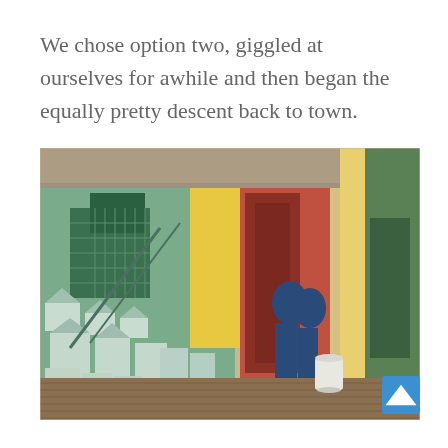We chose option two, giggled at ourselves for awhile and then began the equally pretty descent back to town.
[Figure (photo): A photograph of a colorful street alley with murals painted on building walls. The mural on the left wall depicts a green cityscape with white buildings. The center section shows a yellow background transitioning to a red/pink wall with a painted scene of figures. Colorful building facades (green, yellow) are visible to the right. A white bucket sits on a wooden boardwalk in the foreground.]